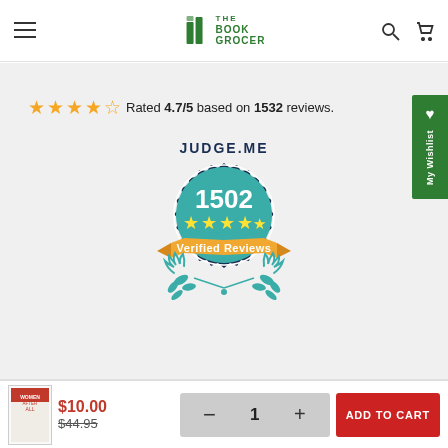The Book Grocer — navigation header with hamburger menu, logo, search and cart icons
[Figure (logo): Judge.me badge showing 1502 verified reviews with 5 stars]
Rated 4.7/5 based on 1532 reviews.
Service +
$10.00  $44.95  1  ADD TO CART